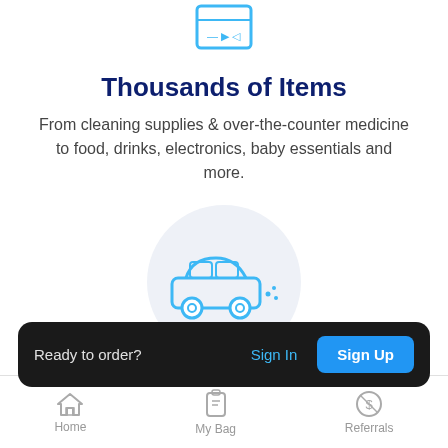[Figure (illustration): Blue shopping/items icon on white background, partially visible at top]
Thousands of Items
From cleaning supplies & over-the-counter medicine to food, drinks, electronics, baby essentials and more.
[Figure (illustration): Blue car icon on a light grey circle background, representing fast delivery]
Delivered Fast
Ready to order? Sign In  Sign Up
open late to bring you what you need
Home  My Bag  Referrals